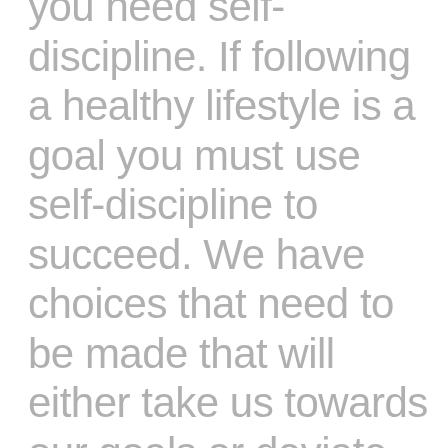you need self-discipline. If following a healthy lifestyle is a goal you must use self-discipline to succeed. We have choices that need to be made that will either take us towards our goals or deviate us completely in the wrong direction and in that wrong direction you feel failure, upset and not at all good about